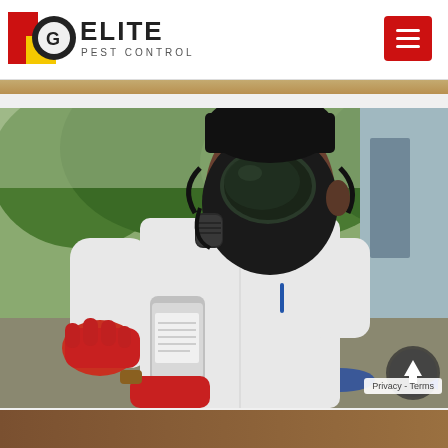Elite Pest Control
[Figure (photo): A pest control worker wearing a black full-face respirator mask and red rubber gloves, dressed in a white lab coat, examining a silver canister/container outdoors near a building with debris on the ground and green trees in the background.]
Privacy - Terms